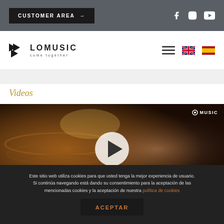CUSTOMER AREA →  [Facebook] [Instagram] [YouTube]
[Figure (logo): LoMusic logo with triangular arrow icon and tagline 'come together', alongside hamburger menu and language flags (UK, Spain)]
Videos
[Figure (screenshot): Video thumbnail showing a young man with hands near his temples, dark warm-toned background, white play button overlay, LoMusic watermark top right]
Este sitio web utiliza cookies para que usted tenga la mejor experiencia de usuario. Si continúa navegando está dando su consentimiento para la aceptación de las mencionadas cookies y la aceptación de nuestra política de cookies
ACEPTAR